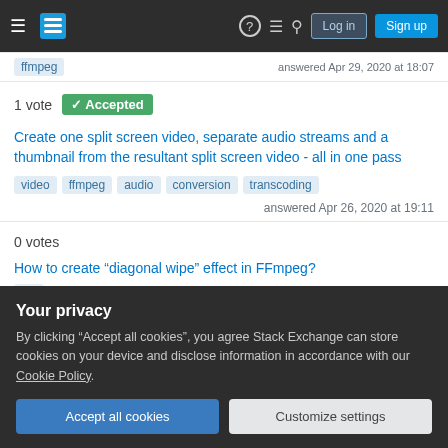Stack Exchange navigation bar with Log in and Sign up buttons
ffmpeg   answered Apr 29, 2020 at 18:07
1 vote  ✓ Accepted
Create one split screen video, separate audio streams and a thumbnail from the resultant split screen video - all in one pass
video  ffmpeg  audio  conversion  transcoding
answered Apr 26, 2020 at 19:11
0 votes
How to create “diagonal wipe” effect in FFmpeg?
Your privacy
By clicking “Accept all cookies”, you agree Stack Exchange can store cookies on your device and disclose information in accordance with our Cookie Policy.
Accept all cookies
Customize settings